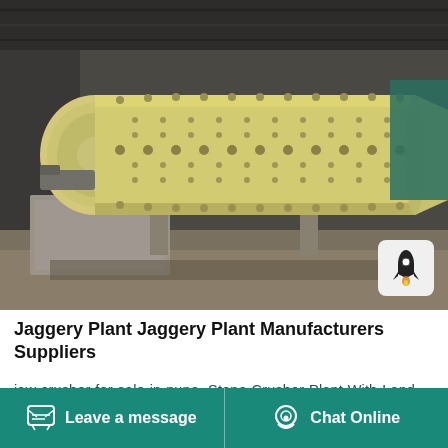[Figure (photo): Industrial ball mill machine (large cylindrical yellow/cream colored grinding mill) inside a factory/industrial shed, viewed from the side showing the long horizontal drum with bolt patterns along its length]
Jaggery Plant Jaggery Plant Manufacturers Suppliers
jaw crusher for sale in pune. Stone Crusher Plant With Land For Sale In Pune. ... jaw crusher is one of main industrial equipment in stone crushing process or rock crushing plants. ... Request
Leave a message   Chat Online